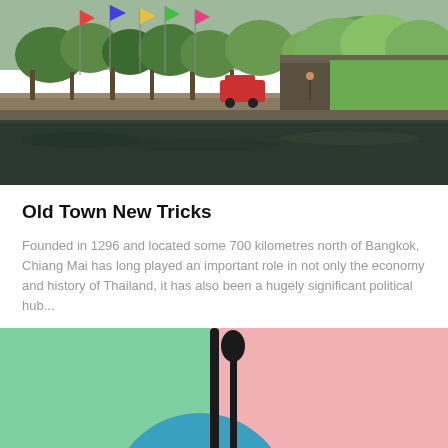[Figure (photo): Outdoor canal/waterway scene in Chiang Mai with colorful flags, trees, a footbridge/walkway, red vehicle, and lush greenery reflecting in the water]
Old Town New Tricks
Founded in 1296 and located some 700 kilometres north of Bangkok, Chiang Mai has long played an important role in not only the economy and history of Thailand, it has also been a hugely significant political hub...
[Figure (photo): Colorful flat-lay photo with green and pink background sections, a teal/blue plate and black cutlery (knife and spoon), likely a food or lifestyle article image. Bottom right shows 'Generated by Feedzy' watermark.]